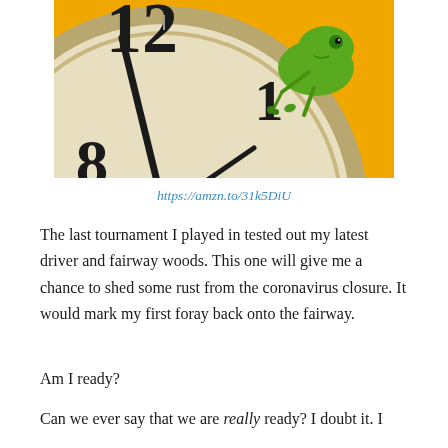[Figure (photo): A green tree frog perched on the edge of a large antique clock face showing numbers 12, 1, and 8 visible, against a bright yellow/orange background.]
https://amzn.to/31k5DiU
The last tournament I played in tested out my latest driver and fairway woods. This one will give me a chance to shed some rust from the coronavirus closure. It would mark my first foray back onto the fairway.
Am I ready?
Can we ever say that we are really ready? I doubt it. I